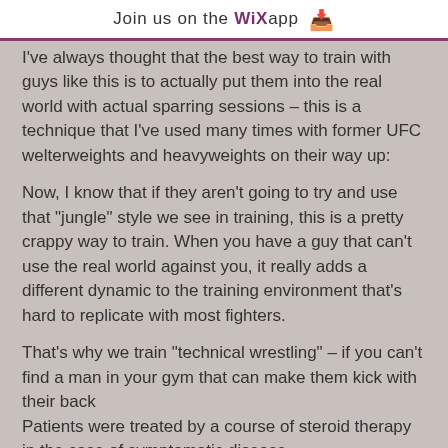Join us on the WiX app ↓
I've always thought that the best way to train with guys like this is to actually put them into the real world with actual sparring sessions – this is a technique that I've used many times with former UFC welterweights and heavyweights on their way up:
Now, I know that if they aren't going to try and use that "jungle" style we see in training, this is a pretty crappy way to train. When you have a guy that can't use the real world against you, it really adds a different dynamic to the training environment that's hard to replicate with most fighters.
That's why we train "technical wrestling" – if you can't find a man in your gym that can make them kick with their back
Patients were treated by a course of steroid therapy in the case of symptomatic disease,